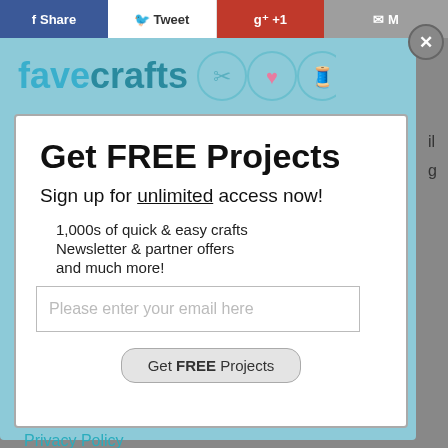f Share  Tweet  g+ +1  M
[Figure (logo): FaveCrafts logo with scissors, heart, and thread spool icons on teal/light blue background]
Get FREE Projects
Sign up for unlimited access now!
1,000s of quick & easy crafts
Newsletter & partner offers
and much more!
Please enter your email here
Get FREE Projects
Privacy Policy